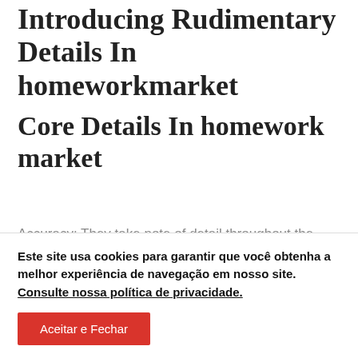Introducing Rudimentary Details In homeworkmarket
Core Details In homework market
Accuracy: They take note of detail throughout the ordering, modifying, and quality assurance processes. Shopper Accredited actively collects critiques homework market from actual verified customers, which helps extra precisely reflect customer's general satisfaction with this company.
Este site usa cookies para garantir que você obtenha a melhor experiência de navegação em nosso site. Consulte nossa política de privacidade.